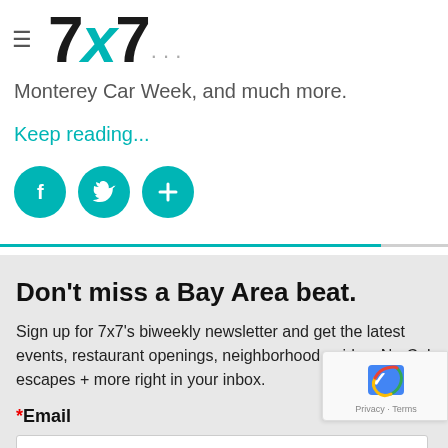[Figure (logo): 7x7 logo with black '7', teal 'x', black '7' and ellipsis]
Monterey Car Week, and much more.
Keep reading...
[Figure (infographic): Three teal circular social media icons: Facebook, Twitter, and a plus/share button]
Don't miss a Bay Area beat.
Sign up for 7x7's biweekly newsletter and get the latest events, restaurant openings, neighborhood guides, NorCal escapes + more right in your inbox.
*Email